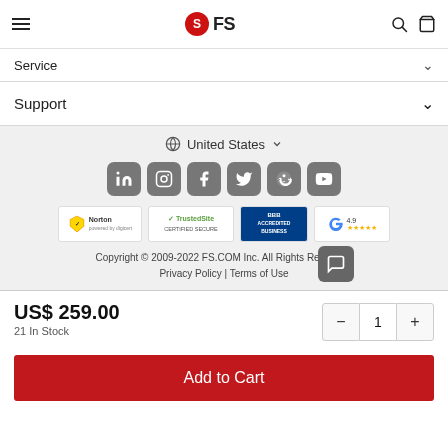FS (logo) — search and cart icons
Service
Support
United States
[Figure (infographic): Social media icon buttons: LinkedIn, Instagram, Facebook, Twitter, Reddit, YouTube]
[Figure (infographic): Trust badge logos: Norton, TrustedSite Certified Secure, BBB Accredited Business, Google 4.9 stars]
Copyright © 2009-2022 FS.COM Inc. All Rights Reserved.
Privacy Policy | Terms of Use
US$ 259.00
21 In Stock
Add to Cart